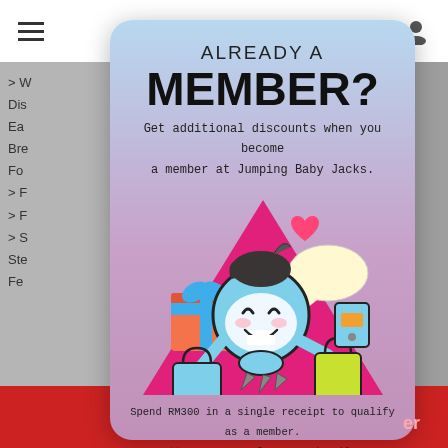ALREADY A MEMBER?
Get additional discounts when you become a member at Jumping Baby Jacks.
[Figure (illustration): Cartoon mascot character holding shopping bags and a gift, with a speech bubble, on a pink triangle background. Colorful promotional illustration for Jumping Baby Jacks membership.]
Spend RM300 in a single receipt to qualify as a member.
** Contact us for more details